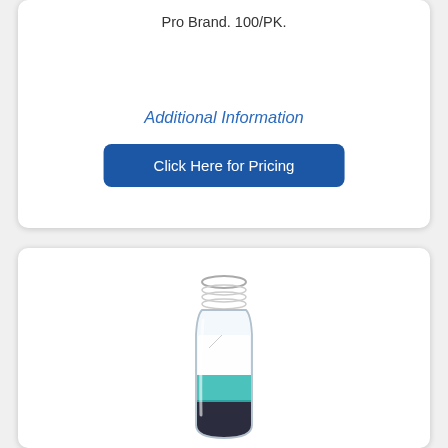Pro Brand. 100/PK.
Additional Information
Click Here for Pricing
[Figure (photo): A clear glass screw-top vial/bottle containing a teal/blue and dark substance, with a partial white label on the side.]